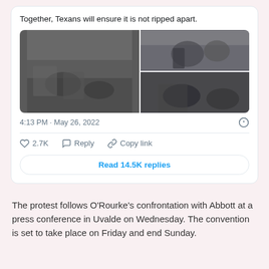Together, Texans will ensure it is not ripped apart.
[Figure (photo): Three photos from a memorial or press conference event: left photo shows people seated in a large hall, top-right shows two people in an embrace one wearing a cowboy hat and law enforcement uniform, bottom-right shows people gathered closely.]
4:13 PM · May 26, 2022
2.7K  Reply  Copy link
Read 14.5K replies
The protest follows O’Rourke’s confrontation with Abbott at a press conference in Uvalde on Wednesday. The convention is set to take place on Friday and end Sunday.